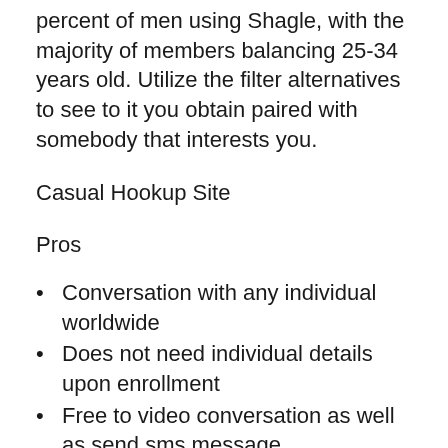percent of men using Shagle, with the majority of members balancing 25-34 years old. Utilize the filter alternatives to see to it you obtain paired with somebody that interests you.
Casual Hookup Site
Pros
Conversation with any individual worldwide
Does not need individual details upon enrollment
Free to video conversation as well as send sms message
Available in 70 nations
Disadvantages